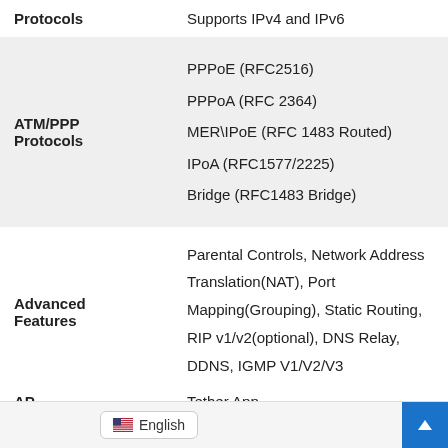| Feature | Description |
| --- | --- |
| Protocols | Supports IPv4 and IPv6 |
| ATM/PPP Protocols | PPPoE (RFC2516)
PPPoA (RFC 2364)
MER\IPoE (RFC 1483 Routed)
IPoA (RFC1577/2225)
Bridge (RFC1483 Bridge) |
| Advanced Features | Parental Controls, Network Address Translation(NAT), Port Mapping(Grouping), Static Routing, RIP v1/v2(optional), DNS Relay, DDNS, IGMP V1/V2/V3 |
| AP | Tether App |
English
Tether App